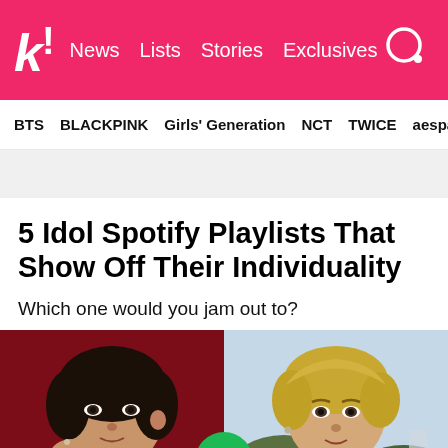k! News Lists Stories Exclusives
BTS BLACKPINK Girls' Generation NCT TWICE aespa
5 Idol Spotify Playlists That Show Off Their Individuality
Which one would you jam out to?
[Figure (photo): Two K-pop male idols side by side: left one has black hair against a dark red background, right one has blonde hair against an outdoor background. A Spotify logo is visible at the bottom center.]